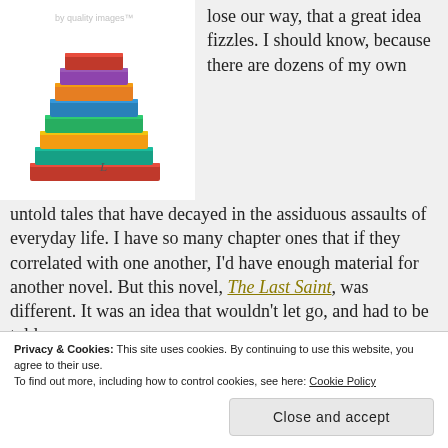[Figure (photo): Stack of colorful books with a watermark in the top area, on a white background.]
lose our way, that a great idea fizzles. I should know, because there are dozens of my own untold tales that have decayed in the assiduous assaults of everyday life. I have so many chapter ones that if they correlated with one another, I'd have enough material for another novel. But this novel, The Last Saint, was different. It was an idea that wouldn't let go, and had to be told.
Privacy & Cookies: This site uses cookies. By continuing to use this website, you agree to their use.
To find out more, including how to control cookies, see here: Cookie Policy
Close and accept